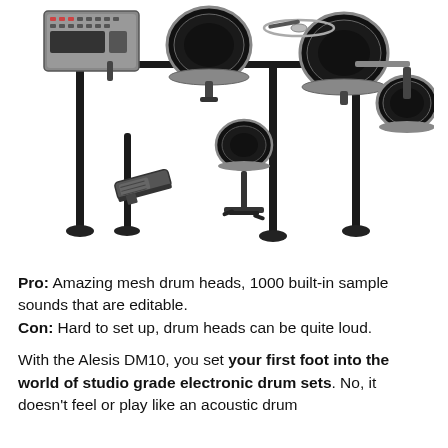[Figure (photo): Electronic drum kit (Alesis DM10) with mesh drum heads, tom pads, hi-hat pad, snare pad, kick pedal, and drum module/brain on a black rack stand, shown on a white background.]
Pro: Amazing mesh drum heads, 1000 built-in sample sounds that are editable. Con: Hard to set up, drum heads can be quite loud.
With the Alesis DM10, you set your first foot into the world of studio grade electronic drum sets. No, it doesn't feel or play like an acoustic drum